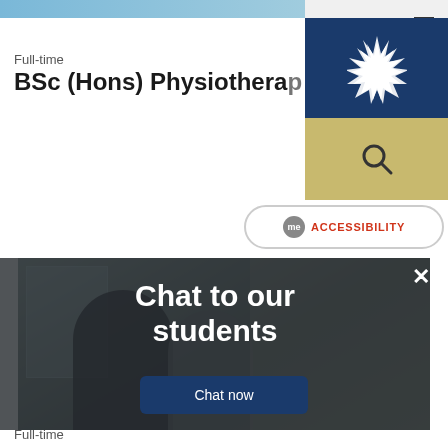[Figure (screenshot): University website screenshot showing BSc (Hons) Physiotherapy course page with navigation, logo, accessibility button, a photo of two people talking, and a chat overlay panel]
Full-time
BSc (Hons) Physiotherapy
[Figure (photo): Two men talking in a physiotherapy or healthcare setting, indoor room with windows]
Chat to our students
Chat now
Full-time